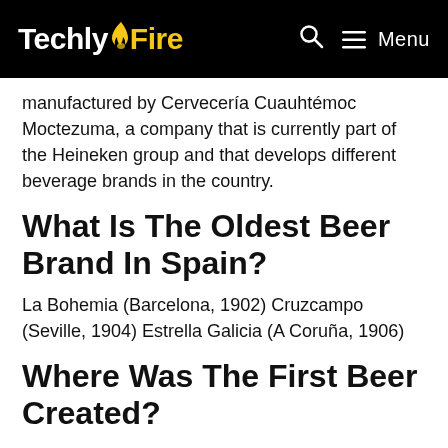TechlyFire — Menu
manufactured by Cervecería Cuauhtémoc Moctezuma, a company that is currently part of the Heineken group and that develops different beverage brands in the country.
What Is The Oldest Beer Brand In Spain?
La Bohemia (Barcelona, 1902) Cruzcampo (Seville, 1904) Estrella Galicia (A Coruña, 1906)
Where Was The First Beer Created?